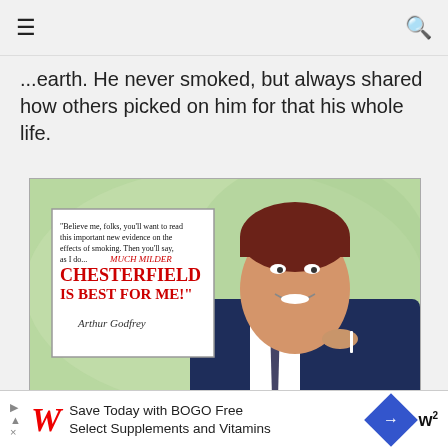☰  [navigation]  🔍
...earth. He never smoked, but always shared how others picked on him for that his whole life.
[Figure (photo): Vintage Chesterfield cigarette advertisement showing a smiling red-haired man in a suit holding a cigarette, with a text box reading: 'Believe me, folks, you'll want to read this important new evidence on the effects of smoking. Then you'll say, as I do... MUCH MILDER CHESTERFIELD IS BEST FOR ME!' with a signature below, on a green painted background.]
NOW...Scientific Evidence
Save Today with BOGO Free Select Supplements and Vitamins